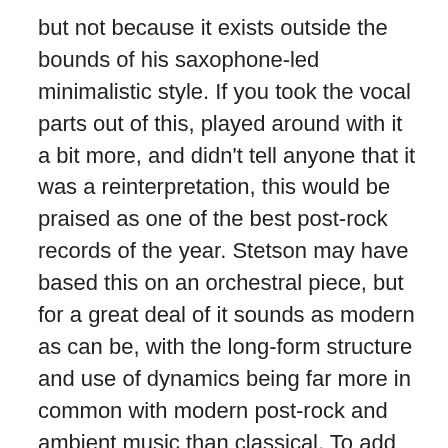but not because it exists outside the bounds of his saxophone-led minimalistic style. If you took the vocal parts out of this, played around with it a bit more, and didn't tell anyone that it was a reinterpretation, this would be praised as one of the best post-rock records of the year. Stetson may have based this on an orchestral piece, but for a great deal of it sounds as modern as can be, with the long-form structure and use of dynamics being far more in common with modern post-rock and ambient music than classical. To add to this, there are guitars and drums here, something that I'm sure a few purists will get their panties in a knot about, but they greatly improve the timbral diversity on offer here. This is certainly not a re-recording of a symphony, it's a re-interpretation of it as if it were written in 2010.
The album is split into the three movements, which